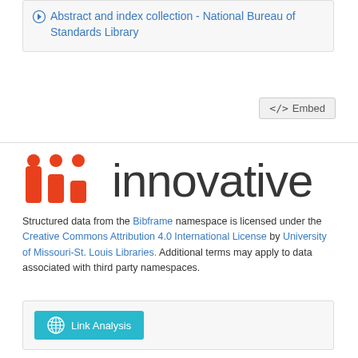Abstract and index collection - National Bureau of Standards Library
[Figure (screenshot): Embed button with code icon]
[Figure (logo): Innovative Interfaces logo with three orange bar-chart-like icons and the word 'innovative' in dark gray]
Structured data from the Bibframe namespace is licensed under the Creative Commons Attribution 4.0 International License by University of Missouri-St. Louis Libraries. Additional terms may apply to data associated with third party namespaces.
[Figure (screenshot): Link Analysis button with globe icon]